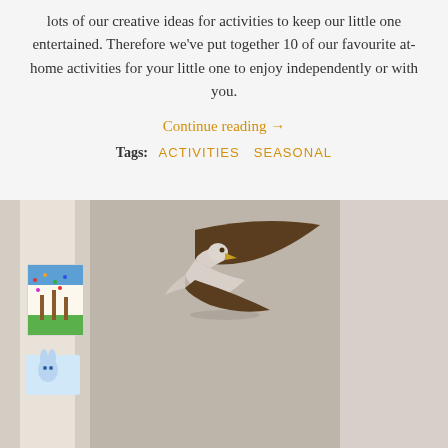lots of our creative ideas for activities to keep our little one entertained. Therefore we've put together 10 of our favourite at-home activities for your little one to enjoy independently or with you.
Continue reading →
Tags:  ACTIVITIES  SEASONAL
[Figure (photo): A room interior showing a wall-mounted decorative ceramic bird sculpture (seagull in flight, brown and white), children's artwork on the wall in background (colorful painting), and a small decorative item at the bottom.]